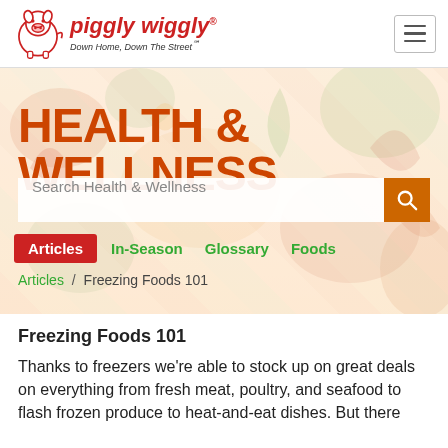piggly wiggly® — Down Home, Down The Street℠
[Figure (screenshot): Hero image background showing colorful vegetables and foods with orange-tinted overlay]
HEALTH & WELLNESS
Search Health & Wellness
Articles   In-Season   Glossary   Foods
Articles / Freezing Foods 101
Freezing Foods 101
Thanks to freezers we're able to stock up on great deals on everything from fresh meat, poultry, and seafood to flash frozen produce to heat-and-eat dishes. But there are some foods that should best be used in the...